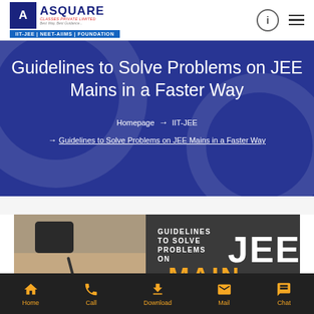ASQUARE CLASSES PRIVATE LIMITED | IIT-JEE | NEET-AIIMS | FOUNDATION
Guidelines to Solve Problems on JEE Mains in a Faster Way
Homepage → IIT-JEE → Guidelines to Solve Problems on JEE Mains in a Faster Way
[Figure (photo): Article thumbnail image showing a student studying with text overlay: GUIDELINES TO SOLVE PROBLEMS ON JEE MAIN]
Home | Call | Download | Mail | Chat